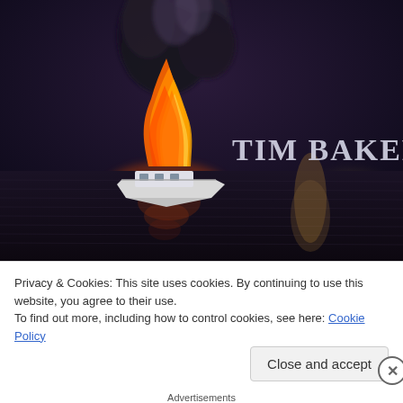[Figure (illustration): Book cover showing a boat on fire at sea at night with dark smoke rising. Text 'TIM BAKER' in large serif letters on the right side against a dark sky background.]
Privacy & Cookies: This site uses cookies. By continuing to use this website, you agree to their use.
To find out more, including how to control cookies, see here: Cookie Policy
Close and accept
Advertisements